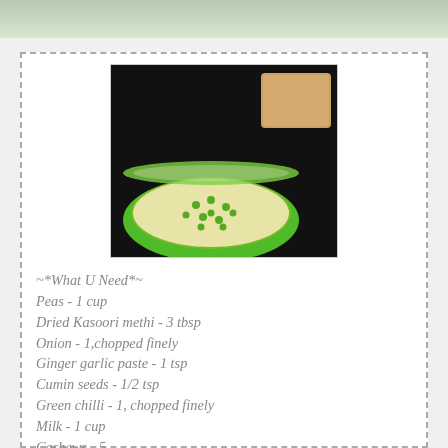[Figure (photo): Photo of a green bowl containing creamy peas curry with a side dish visible at the top right, on a dark background]
~*What U Need*~
Peas - 1 cup
Dried Kasoori methi - 3 tbsp
Onion - 1,chopped finely
Ginger garlic paste - 1 tsp
Cumin seeds - 1/2 tsp
Green chilli - 1, chopped finely
Milk - 1 cup
Cashews - 5
Cream - 2 tbsp(optional)
Garam masala powder - 1/2 tsp
Chilli powder - 1 tsp
Turmeric powder - 1/4 tsp
Oil - 1 tbsp
Salt - to taste